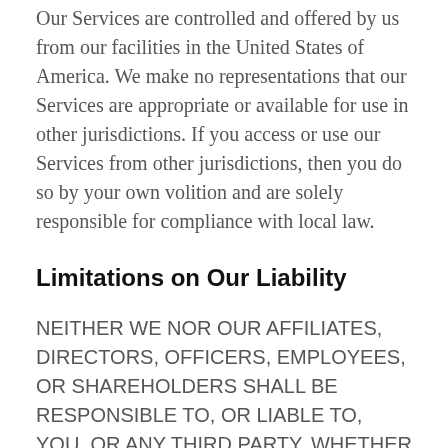Our Services are controlled and offered by us from our facilities in the United States of America. We make no representations that our Services are appropriate or available for use in other jurisdictions. If you access or use our Services from other jurisdictions, then you do so by your own volition and are solely responsible for compliance with local law.
Limitations on Our Liability
NEITHER WE NOR OUR AFFILIATES, DIRECTORS, OFFICERS, EMPLOYEES, OR SHAREHOLDERS SHALL BE RESPONSIBLE TO, OR LIABLE TO, YOU, OR ANY THIRD PARTY, WHETHER IN CONTRACT, WARRANTY, TORT (INCLUDING NEGLIGENCE) OR OTHERWISE,